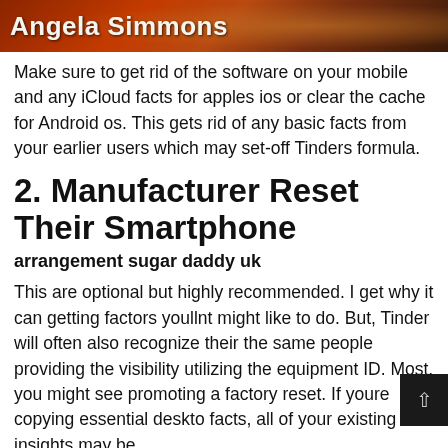[Figure (photo): Header banner with orange-red gradient background and name 'Angela Simmons' in white bold text]
Make sure to get rid of the software on your mobile and any iCloud facts for apples ios or clear the cache for Android os. This gets rid of any basic facts from your earlier users which may set-off Tinders formula.
2. Manufacturer Reset Their Smartphone
arrangement sugar daddy uk
This are optional but highly recommended. I get why it can getting factors youllnt might like to do. But, Tinder will often also recognize their the same people providing the visibility utilizing the equipment ID. Most, you might see promoting a factory reset. If youre copying essential deskto facts, all of your existing insights may be